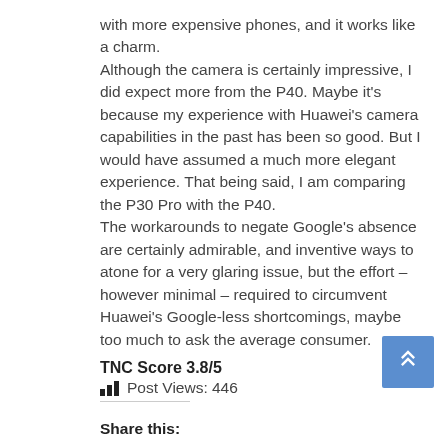with more expensive phones, and it works like a charm.
Although the camera is certainly impressive, I did expect more from the P40. Maybe it's because my experience with Huawei's camera capabilities in the past has been so good. But I would have assumed a much more elegant experience. That being said, I am comparing the P30 Pro with the P40.
The workarounds to negate Google's absence are certainly admirable, and inventive ways to atone for a very glaring issue, but the effort – however minimal – required to circumvent Huawei's Google-less shortcomings, maybe too much to ask the average consumer.
TNC Score 3.8/5
Post Views: 446
Share this: